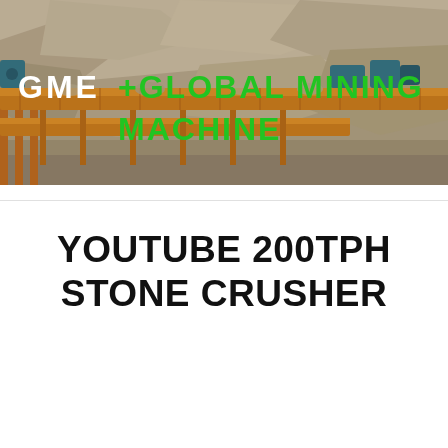[Figure (photo): Mining/quarry equipment scene showing conveyor belts and crushers with rocky terrain background. Header banner with text 'GME +GLOBAL MINING MACHINE' overlaid in white and green bold letters.]
YOUTUBE 200TPH STONE CRUSHER